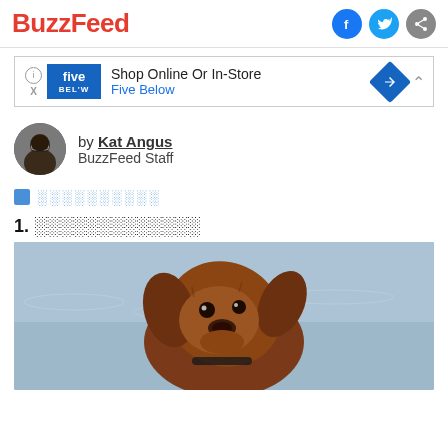BuzzFeed
[Figure (infographic): Five Below advertisement banner: Shop Online Or In-Store - Five Below]
[Figure (photo): Author avatar photo of Kat Angus, a woman with dark hair and glasses]
by Kat Angus
BuzzFeed Staff
░ ░░░░░░░░░
1. ░░░░░░░░░░░░░
[Figure (photo): A wet brown dog with floppy ears shaking its head against a water background, head tilted sideways]